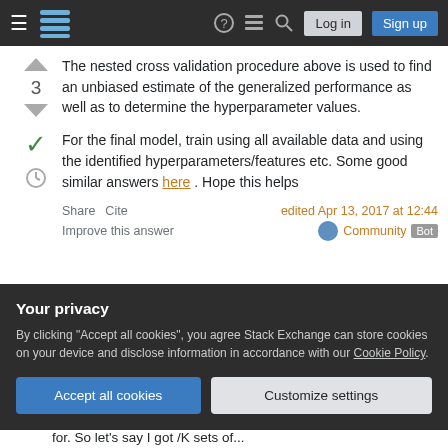Stack Exchange navigation bar with Log in and Sign up buttons
The nested cross validation procedure above is used to find an unbiased estimate of the generalized performance as well as to determine the hyperparameter values.
For the final model, train using all available data and using the identified hyperparameters/features etc. Some good similar answers here . Hope this helps
Share  Cite   edited Apr 13, 2017 at 12:44   Improve this answer   Community Bot
Your privacy
By clicking "Accept all cookies", you agree Stack Exchange can store cookies on your device and disclose information in accordance with our Cookie Policy.
Thanks for answering. The reference is exact what I am looking for. So let's say I got /K sets of...